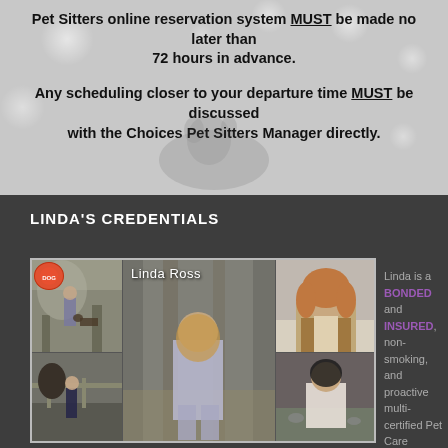Pet Sitters online reservation system MUST be made no later than 72 hours in advance.
Any scheduling closer to your departure time MUST be discussed with the Choices Pet Sitters Manager directly.
LINDA'S CREDENTIALS
[Figure (photo): Collage of photos showing Linda Ross with animals in outdoor settings, plus a professional portrait]
Linda is a BONDED and INSURED, non-smoking, and proactive multi-certified Pet Care